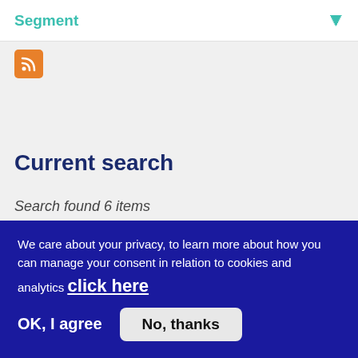Segment
[Figure (other): RSS feed icon — orange rounded square with white RSS symbol]
Current search
Search found 6 items
(-) Fundamental Elements
(-) Mobility & Smart Cities
(-) 1389
(-) 3142
We care about your privacy, to learn more about how you can manage your consent in relation to cookies and analytics click here
OK, I agree
No, thanks